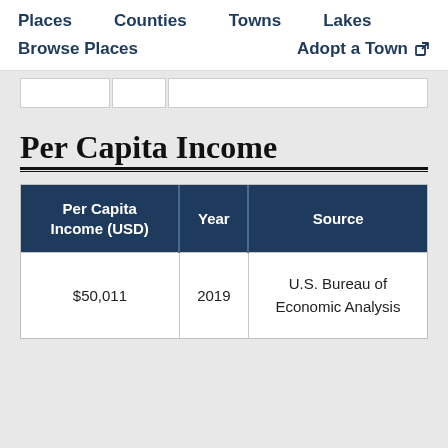Places   Counties   Towns   Lakes
Browse Places   Adopt a Town
Per Capita Income
| Per Capita Income (USD) | Year | Source |
| --- | --- | --- |
| $50,011 | 2019 | U.S. Bureau of Economic Analysis |